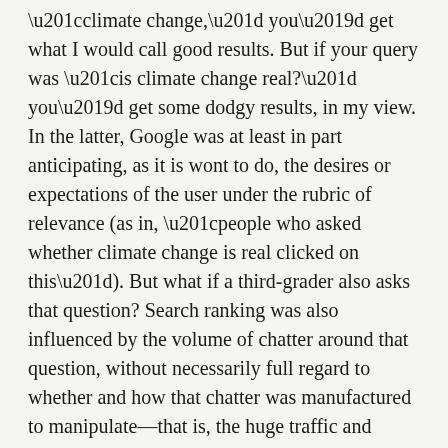“climate change,” you’d get what I would call good results. But if your query was “is climate change real?” you’d get some dodgy results, in my view. In the latter, Google was at least in part anticipating, as it is wont to do, the desires or expectations of the user under the rubric of relevance (as in, “people who asked whether climate change is real clicked on this”). But what if a third-grader also asks that question? Search ranking was also influenced by the volume of chatter around that question, without necessarily full regard to whether and how that chatter was manufactured to manipulate—that is, the huge traffic and engagement around climate-change deniers and the skimpy discussion around peer-reviewed scientific papers on the topic. But today, if you try both searches, you’ll find similar good results. That tells me that Google has made a decision to compensate for manufactured controversy and in the end favor the institution of science. That’s big.